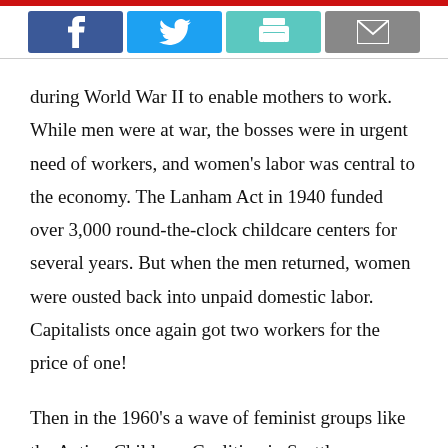[Figure (other): Social sharing bar with Facebook, Twitter, Print, and Email buttons]
during World War II to enable mothers to work. While men were at war, the bosses were in urgent need of workers, and women's labor was central to the economy. The Lanham Act in 1940 funded over 3,000 round-the-clock childcare centers for several years. But when the men returned, women were ousted back into unpaid domestic labor. Capitalists once again got two workers for the price of one!
Then in the 1960's a wave of feminist groups like the Action Childcare Coalition in Seattle, Washington, fought for free quality childcare. As a result, in 1971